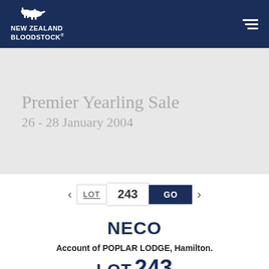NEW ZEALAND BLOODSTOCK
Premier Yearling Sale
26 - 28 January 2004
LOT 243 GO
NECO
Account of POPLAR LODGE, Hamilton.
LOT 243
Foaled 1st November 2002